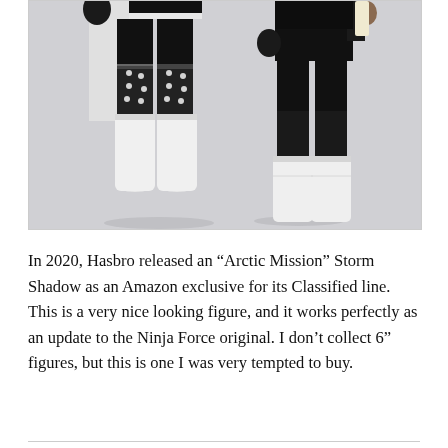[Figure (photo): Photo of two action figures (ninja/military style) with black uniforms and white boots and leg wraps, photographed from approximately waist-down against a light gray background. Left figure has patterned black and white leg wraps; right figure has plain black suit with white boots.]
In 2020, Hasbro released an “Arctic Mission” Storm Shadow as an Amazon exclusive for its Classified line. This is a very nice looking figure, and it works perfectly as an update to the Ninja Force original. I don’t collect 6” figures, but this is one I was very tempted to buy.